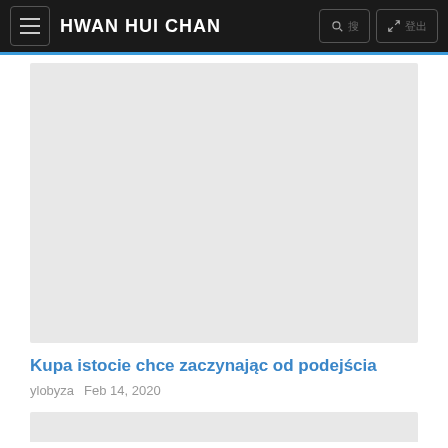HWAN HUI CHAN
[Figure (photo): Gray placeholder image for a blog post]
Kupa istocie chce zaczynając od podejścia
ylobyza  Feb 14, 2020